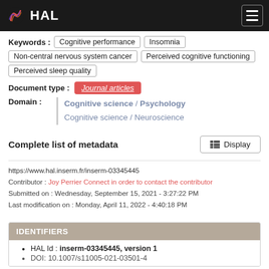HAL
Keywords : Cognitive performance · Insomnia · Non-central nervous system cancer · Perceived cognitive functioning · Perceived sleep quality
Document type : Journal articles
Domain : Cognitive science / Psychology · Cognitive science / Neuroscience
Complete list of metadata  Display
https://www.hal.inserm.fr/inserm-03345445
Contributor : Joy Perrier Connect in order to contact the contributor
Submitted on : Wednesday, September 15, 2021 - 3:27:22 PM
Last modification on : Monday, April 11, 2022 - 4:40:18 PM
IDENTIFIERS
HAL Id : inserm-03345445, version 1
DOI: 10.1007/s11005-021-03501-4